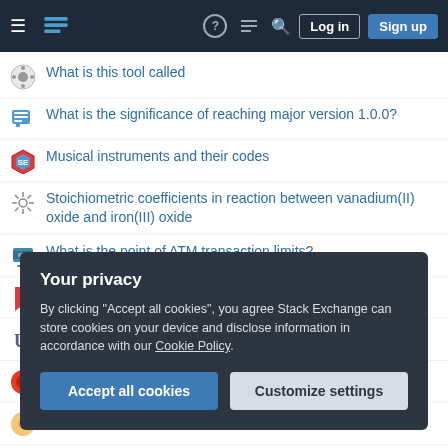Stack Exchange navigation bar with Log in and Sign up buttons
What is this tool called
What is the significance of reaching major version 1.0.0?
Musical instruments and their codes
Stoichiometric coefficients in reaction between vanadium(II) oxide and iron(III) oxide
What is the point of ATM transaction limits?
Can I replace 'have not' or 'haven't' with 'ain't' in oral English?
Cannot get sed to work with a variable and quotes
What does this symbol on a voltmeter represent?
Origin problem doesn't change
Your privacy
By clicking "Accept all cookies", you agree Stack Exchange can store cookies on your device and disclose information in accordance with our Cookie Policy.
Accept all cookies   Customize settings